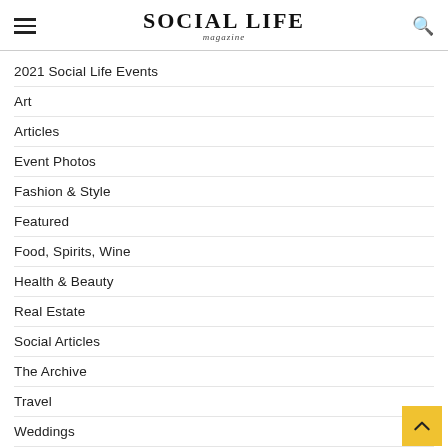Social Life magazine
2021 Social Life Events
Art
Articles
Event Photos
Fashion & Style
Featured
Food, Spirits, Wine
Health & Beauty
Real Estate
Social Articles
The Archive
Travel
Weddings